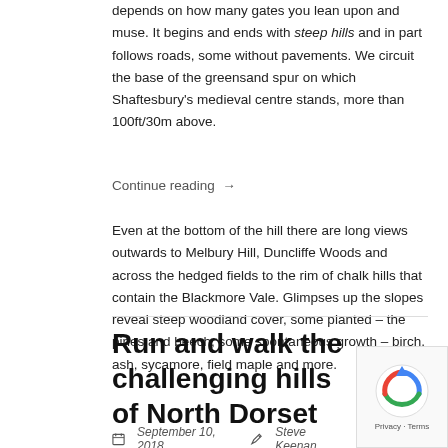depends on how many gates you lean upon and muse. It begins and ends with steep hills and in part follows roads, some without pavements. We circuit the base of the greensand spur on which Shaftesbury's medieval centre stands, more than 100ft/30m above.
Even at the bottom of the hill there are long views outwards to Melbury Hill, Duncliffe Woods and across the hedged fields to the rim of chalk hills that contain the Blackmore Vale. Glimpses up the slopes reveal steep woodland cover, some planted – the pines and beech, some spontaneous growth – birch, ash, sycamore, field maple and more.
Continue reading →
Run and walk the challenging hills of North Dorset
September 10, 2018   Steve Keenan   News/Blog